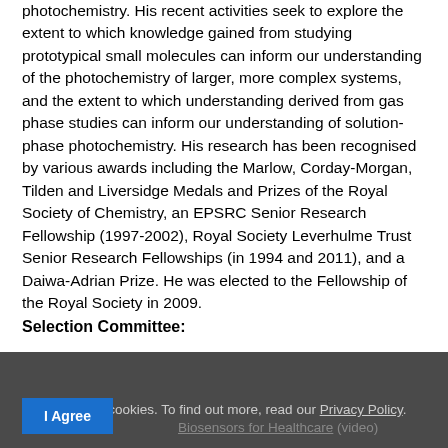photochemistry. His recent activities seek to explore the extent to which knowledge gained from studying prototypical small molecules can inform our understanding of the photochemistry of larger, more complex systems, and the extent to which understanding derived from gas phase studies can inform our understanding of solution-phase photochemistry. His research has been recognised by various awards including the Marlow, Corday-Morgan, Tilden and Liversidge Medals and Prizes of the Royal Society of Chemistry, an EPSRC Senior Research Fellowship (1997-2002), Royal Society Leverhulme Trust Senior Research Fellowships (in 1994 and 2011), and a Daiwa-Adrian Prize. He was elected to the Fellowship of the Royal Society in 2009.
Selection Committee:
William Swalley, Chair; N. Louvignat, D.M. Neumark, M. Zanni, R. Walsworth
This site uses cookies. To find out more, read our Privacy Policy. I Agree
Biosensors for Healthcare (video)